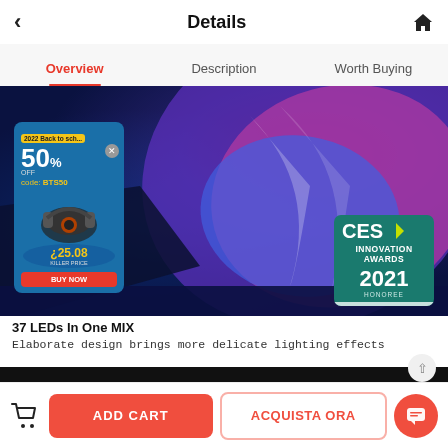Details
Overview | Description | Worth Buying
[Figure (screenshot): Product detail page image showing a colorful abstract product background with illuminated neon colors (blue, pink, purple). Has a promotional popup overlay on the left showing 50% off, code BTS50, price $25.08, with headphone image and BUY NOW button. CES Innovation Awards 2021 Honoree badge on the bottom right.]
37 LEDs In One MIX
Elaborate design brings more delicate lighting effects
ADD CART | ACQUISTA ORA